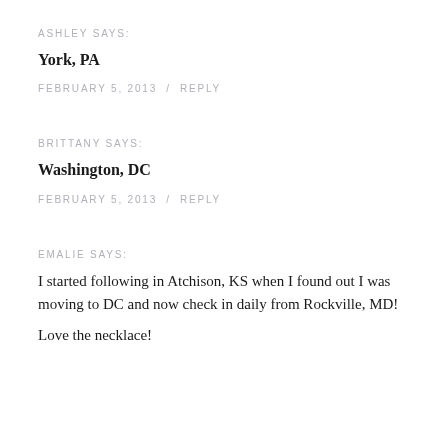ASHLEY SAYS:
York, PA
FEBRUARY 5, 2013 / REPLY
BRITTANY SAYS:
Washington, DC
FEBRUARY 5, 2013 / REPLY
EMALIE SAYS:
I started following in Atchison, KS when I found out I was moving to DC and now check in daily from Rockville, MD!

Love the necklace!